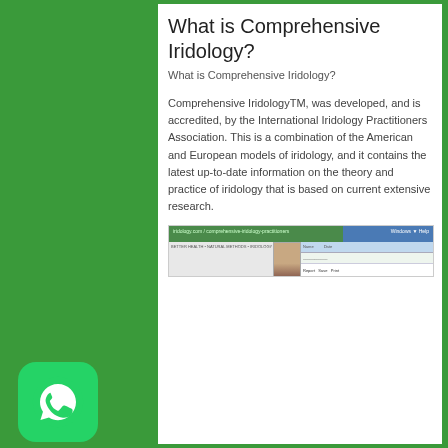What is Comprehensive Iridology?
What is Comprehensive Iridology?
Comprehensive IridologyTM, was developed, and is accredited, by the International Iridology Practitioners Association. This is a combination of the American and European models of iridology, and it contains the latest up-to-date information on the theory and practice of iridology that is based on current extensive research.
[Figure (screenshot): Screenshot of a website related to iridology, showing a green navigation bar with URL text, a photo of a woman, and a blue header bar with grid/table content.]
How To Take Your Iris Photos by iridology camera ebay
How To Take Your Iris Photos by iridology camera ebay